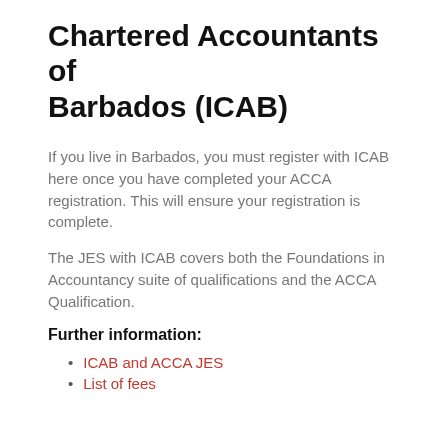Chartered Accountants of Barbados (ICAB)
If you live in Barbados, you must register with ICAB here once you have completed your ACCA registration. This will ensure your registration is complete.
The JES with ICAB covers both the Foundations in Accountancy suite of qualifications and the ACCA Qualification.
Further information:
ICAB and ACCA JES
List of fees